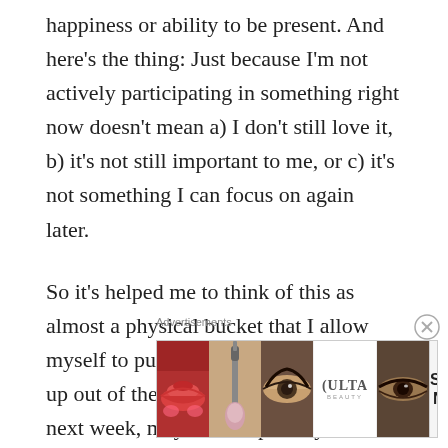happiness or ability to be present. And here’s the thing: Just because I’m not actively participating in something right now doesn’t mean a) I don’t still love it, b) it’s not still important to me, or c) it’s not something I can focus on again later.
So it’s helped me to think of this as almost a physical bucket that I allow myself to put things in. I can pick them up out of the bucket again — maybe next week, maybe a couple of years from now — but right now they’re safe and sound waiting for me.
Advertisements
[Figure (other): ULTA Beauty advertisement banner showing makeup close-up images (lips, brush, eyes) alongside the ULTA Beauty logo and a SHOP NOW call to action.]